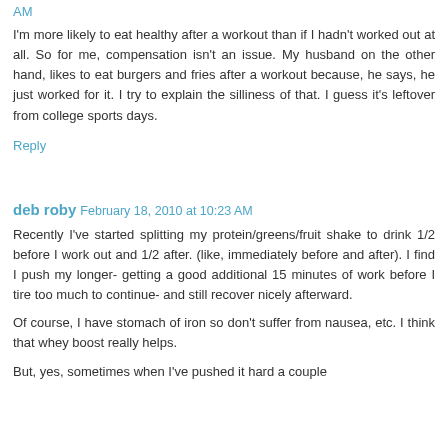AM
I'm more likely to eat healthy after a workout than if I hadn't worked out at all. So for me, compensation isn't an issue. My husband on the other hand, likes to eat burgers and fries after a workout because, he says, he just worked for it. I try to explain the silliness of that. I guess it's leftover from college sports days.
Reply
deb roby  February 18, 2010 at 10:23 AM
Recently I've started splitting my protein/greens/fruit shake to drink 1/2 before I work out and 1/2 after. (like, immediately before and after). I find I push my longer- getting a good additional 15 minutes of work before I tire too much to continue- and still recover nicely afterward.
Of course, I have stomach of iron so don't suffer from nausea, etc. I think that whey boost really helps.
But, yes, sometimes when I've pushed it hard a couple